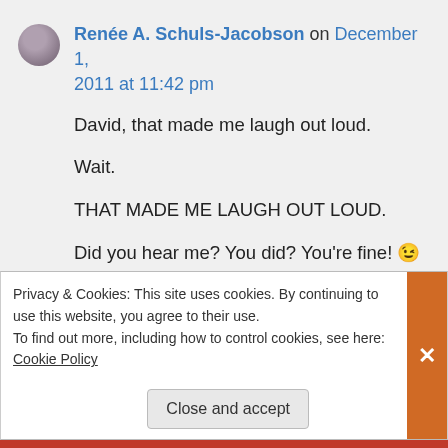Renée A. Schuls-Jacobson on December 1, 2011 at 11:42 pm
David, that made me laugh out loud.

Wait.

THAT MADE ME LAUGH OUT LOUD.

Did you hear me? You did? You're fine! 😉
★ Like
Privacy & Cookies: This site uses cookies. By continuing to use this website, you agree to their use.
To find out more, including how to control cookies, see here: Cookie Policy
Close and accept